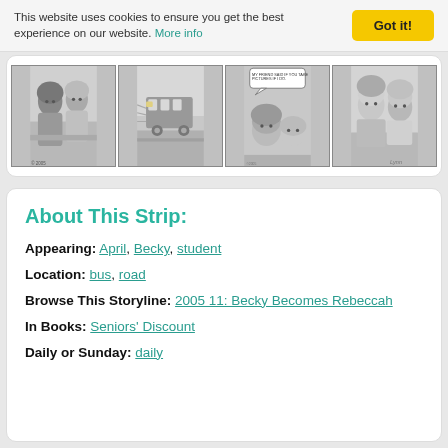This website uses cookies to ensure you get the best experience on our website. More info
[Figure (illustration): Four-panel black and white comic strip showing characters April and Becky on a bus and road scene]
About This Strip:
Appearing: April, Becky, student
Location: bus, road
Browse This Storyline: 2005 11: Becky Becomes Rebeccah
In Books: Seniors' Discount
Daily or Sunday: daily